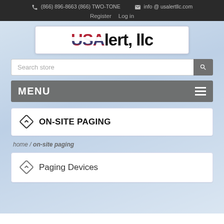(866) 896-8663 (866) TWO-TONE   info @ usalertllc.com
Register  Log in
[Figure (logo): USAlert, llc logo with USA in American flag colors and 'lert, llc' in black bold text]
Search store
MENU
ON-SITE PAGING
home / on-site paging
Paging Devices